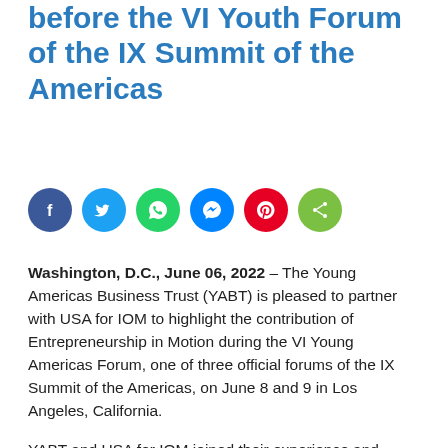before the VI Youth Forum of the IX Summit of the Americas
[Figure (other): Social media share buttons: Facebook (dark blue), Twitter (light blue), WhatsApp (green), Messenger (blue), Pinterest (red), Share (green)]
Washington, D.C., June 06, 2022 – The Young Americas Business Trust (YABT) is pleased to partner with USA for IOM to highlight the contribution of Entrepreneurship in Motion during the VI Young Americas Forum, one of three official forums of the IX Summit of the Americas, on June 8 and 9 in Los Angeles, California.
YABT and USA for IOM joined their experience and knowledge to support the incursion of the migrant and